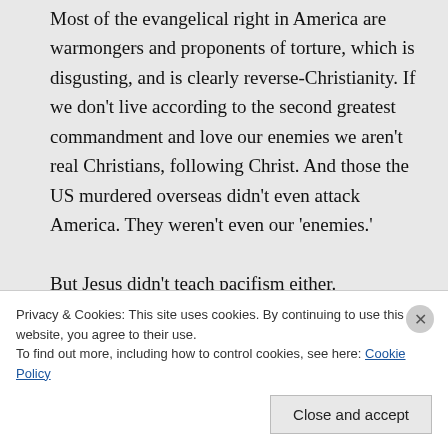Most of the evangelical right in America are warmongers and proponents of torture, which is disgusting, and is clearly reverse-Christianity. If we don't live according to the second greatest commandment and love our enemies we aren't real Christians, following Christ. And those the US murdered overseas didn't even attack America. They weren't even our 'enemies.'

But Jesus didn't teach pacifism either.
Privacy & Cookies: This site uses cookies. By continuing to use this website, you agree to their use. To find out more, including how to control cookies, see here: Cookie Policy